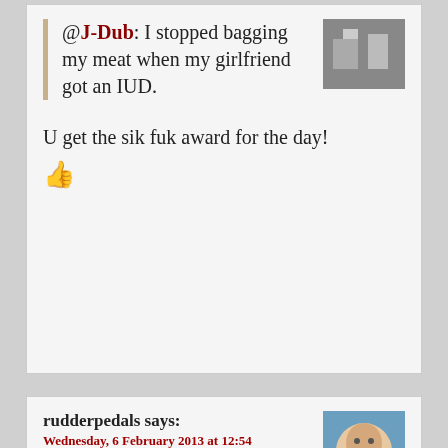@J-Dub: I stopped bagging my meat when my girlfriend got an IUD.
U get the sik fuk award for the day!
rudderpedals says:
Wednesday, 6 February 2013 at 12:54
Yumm! Aerosolized feces. Really people, how hard is it to understand that storing food containers in the bathroom is a crappy idea.
Jenos Idanian #13 says:
Wednesday, 6 February 2013 at 12:58